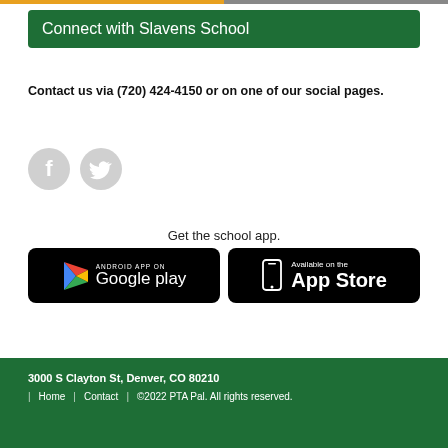Connect with Slavens School
Contact us via (720) 424-4150 or on one of our social pages.
[Figure (illustration): Two circular social media icon buttons: Facebook (f) and Twitter (bird icon), both in light gray circular backgrounds.]
Get the school app.
[Figure (illustration): Android app on Google Play button (black rounded rectangle with Google Play triangle logo and text)]
[Figure (illustration): Available on the App Store button (black rounded rectangle with phone icon and text)]
3000 S Clayton St, Denver, CO 80210 | Home | Contact | ©2022 PTA Pal. All rights reserved.